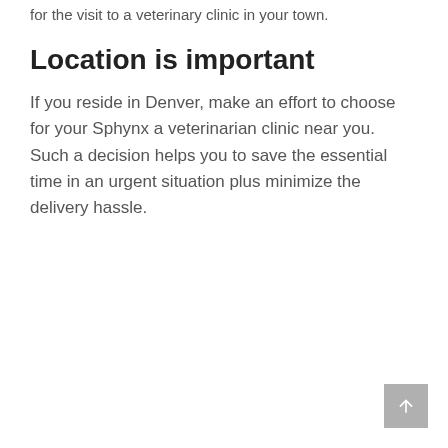for the visit to a veterinary clinic in your town.
Location is important
If you reside in Denver, make an effort to choose for your Sphynx a veterinarian clinic near you. Such a decision helps you to save the essential time in an urgent situation plus minimize the delivery hassle.